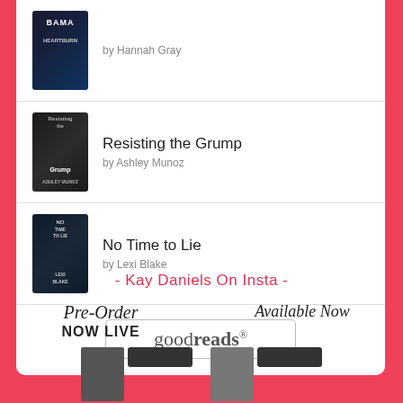[Figure (illustration): Book cover for a title by Hannah Gray - dark colored cover]
by Hannah Gray
[Figure (illustration): Book cover for Resisting the Grump - dark cover]
Resisting the Grump
by Ashley Munoz
[Figure (illustration): Book cover for No Time to Lie - dark cover]
No Time to Lie
by Lexi Blake
[Figure (logo): Goodreads logo button with rounded rectangle border]
- Kay Daniels On Insta -
Pre-Order
NOW LIVE
Available Now